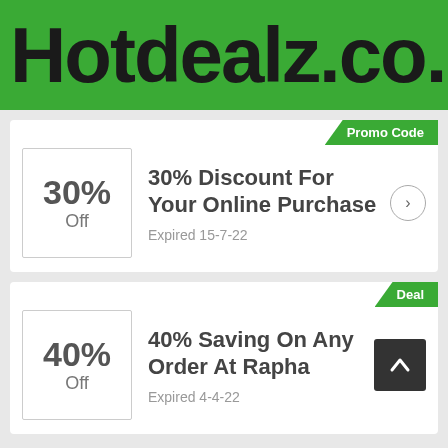Hotdealz.co.uk
Promo Code
[Figure (infographic): 30% Off discount box icon]
30% Discount For Your Online Purchase
Expired 15-7-22
Deal
[Figure (infographic): 40% Off discount box icon]
40% Saving On Any Order At Rapha
Expired 4-4-22